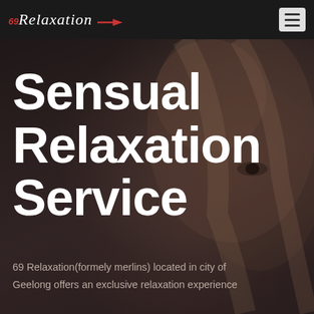69 Relaxation
[Figure (photo): Dark moody hero background photo of a woman with blonde hair, heavily shadowed and blurred, serving as background for the website homepage hero section]
Sensual Relaxation Service
69 Relaxation(formely merlins) located in city of Geelong offers an exclusive relaxation experience